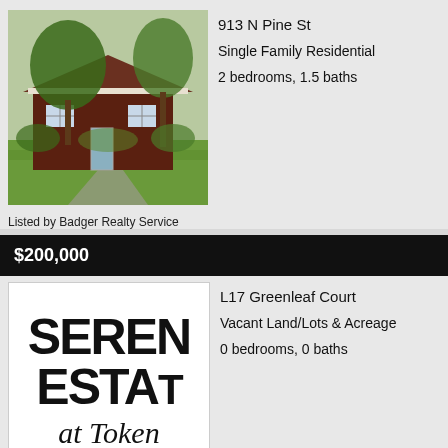[Figure (photo): Exterior photo of a red brick single family home with trees and green lawn at 913 N Pine St]
913 N Pine St
Single Family Residential
2 bedrooms, 1.5 baths
Listed by Badger Realty Service
$200,000
[Figure (logo): Logo reading SEREN ESTA at Token (Serene Estates at Token Creek)]
L17 Greenleaf Court
Vacant Land/Lots & Acreage
0 bedrooms, 0 baths
Listed by Exp Realty, Llc